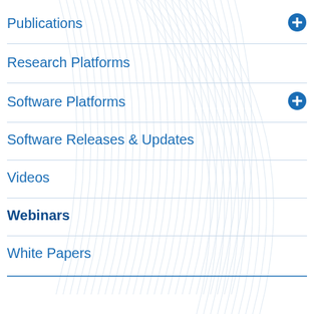Publications
Research Platforms
Software Platforms
Software Releases & Updates
Videos
Webinars
White Papers